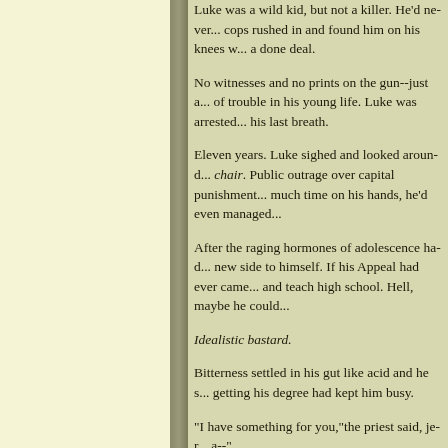Luke was a wild kid, but not a killer. He'd never... cops rushed in and found him on his knees w... a done deal.
No witnesses and no prints on the gun--just a... of trouble in his young life. Luke was arreste... his last breath.
Eleven years. Luke sighed and looked aroun... chair. Public outrage over capital punishmen... much time on his hands, he'd even managed...
After the raging hormones of adolescence ha... new side to himself. If his Appeal had ever ca... and teach high school. Hell, maybe he could...
Idealistic bastard.
Bitterness settled in his gut like acid and he s... getting his degree had kept him busy.
"I have something for you,"the priest said, je... a--"
"My grandfather died three years ago."Disbe... Luke. His pulse escalated to a jarring thud in... she'd called with the news. She'd accused hi...
The priest lowered his gaze for a moment, th... withdrew an envelope. "Your grandmother s...